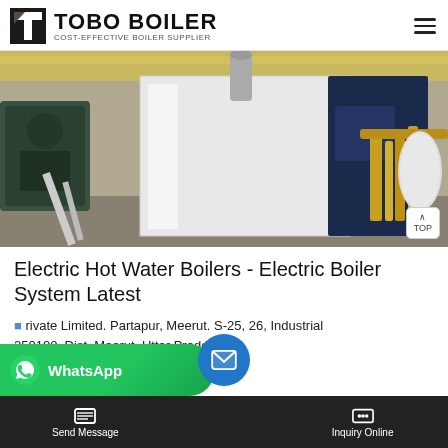TOBO BOILER — COST-EFFECTIVE BOILER SUPPLIER
[Figure (photo): Industrial boiler facility showing a large white and dark blue electric hot water boiler unit on a factory floor, with pipes, equipment and industrial machinery in the background]
Electric Hot Water Boilers - Electric Boiler System Latest
Private Limited. Partapur, Meerut. S-25, 26, Industrial 250100, Dist. Meerut, Uttar Pradesh. L Verified. Call +91-
Send Message | Inquiry Online